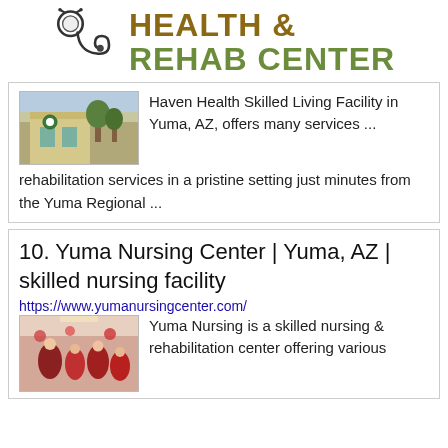[Figure (logo): Health & Rehab Center logo with stethoscope icon and text in olive/gold colors]
[Figure (photo): Exterior photo of Haven Health Skilled Living Facility building]
Haven Health Skilled Living Facility in Yuma, AZ, offers many services ... rehabilitation services in a pristine setting just minutes from the Yuma Regional ...
10. Yuma Nursing Center | Yuma, AZ | skilled nursing facility
https://www.yumanursingcenter.com/
[Figure (photo): Interior photo of Yuma Nursing Center showing people gathered]
Yuma Nursing is a skilled nursing & rehabilitation center offering various